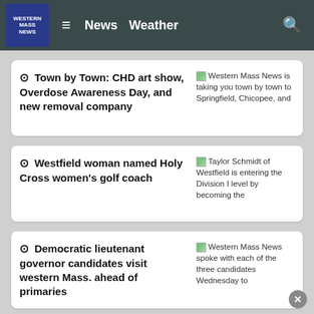Western Mass News — News  Weather
Town by Town: CHD art show, Overdose Awareness Day, and new removal company — Western Mass News is taking you town by town to Springfield, Chicopee, and
Westfield woman named Holy Cross women's golf coach — Taylor Schmidt of Westfield is entering the Division I level by becoming the
Democratic lieutenant governor candidates visit western Mass. ahead of primaries — Western Mass News spoke with each of the three candidates Wednesday to